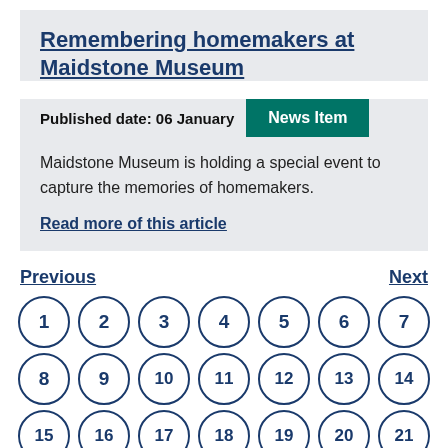Remembering homemakers at Maidstone Museum
Published date: 06 January
News Item
Maidstone Museum is holding a special event to capture the memories of homemakers.
Read more of this article
Previous
Next
[Figure (other): Pagination circles numbered 1 through 21 arranged in three rows of seven]